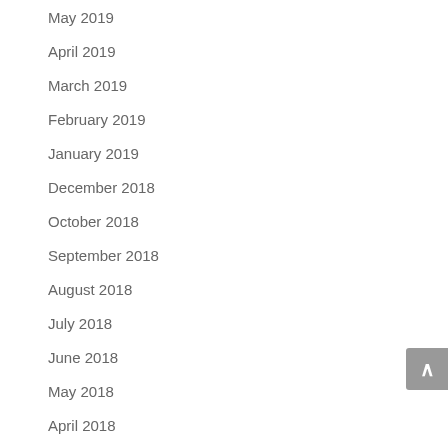May 2019
April 2019
March 2019
February 2019
January 2019
December 2018
October 2018
September 2018
August 2018
July 2018
June 2018
May 2018
April 2018
March 2018
February 2018